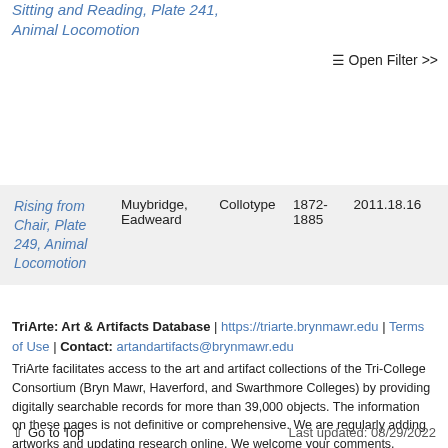Sitting and Reading, Plate 241, Animal Locomotion
☰ Open Filter >>
| Rising from Chair, Plate 249, Animal Locomotion | Muybridge, Eadweard | Collotype | 1872-1885 | 2011.18.16 |
TriArte: Art & Artifacts Database | https://triarte.brynmawr.edu | Terms of Use | Contact: artandartifacts@brynmawr.edu
TriArte facilitates access to the art and artifact collections of the Tri-College Consortium (Bryn Mawr, Haverford, and Swarthmore Colleges) by providing digitally searchable records for more than 39,000 objects. The information on these pages is not definitive or comprehensive. We are regularly adding artworks and updating research online. We welcome your comments.
↑ Go to Top
Last updated: 08/29/2022